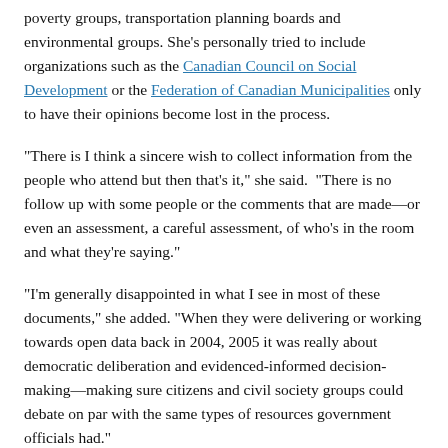poverty groups, transportation planning boards and environmental groups. She's personally tried to include organizations such as the Canadian Council on Social Development or the Federation of Canadian Municipalities only to have their opinions become lost in the process.
“There is I think a sincere wish to collect information from the people who attend but then that’s it,” she said. “There is no follow up with some people or the comments that are made—or even an assessment, a careful assessment, of who’s in the room and what they’re saying.”
“I’m generally disappointed in what I see in most of these documents,” she added. “When they were delivering or working towards open data back in 2004, 2005 it was really about democratic deliberation and evidenced-informed decision-making—making sure citizens and civil society groups could debate on par with the same types of resources government officials had.”